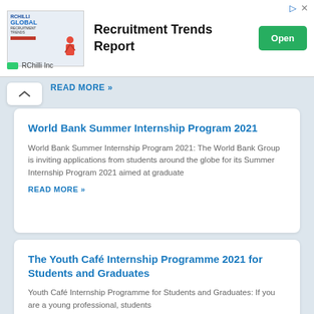[Figure (screenshot): Advertisement banner for RChilli Global Recruitment Trends Report with an Open button]
READ MORE »
World Bank Summer Internship Program 2021
World Bank Summer Internship Program 2021: The World Bank Group is inviting applications from students around the globe for its Summer Internship Program 2021 aimed at graduate
READ MORE »
The Youth Café Internship Programme 2021 for Students and Graduates
Youth Café Internship Programme for Students and Graduates: If you are a young professional, students